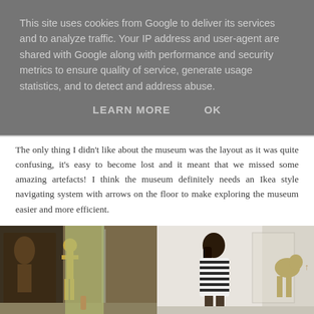This site uses cookies from Google to deliver its services and to analyze traffic. Your IP address and user-agent are shared with Google along with performance and security metrics to ensure quality of service, generate usage statistics, and to detect and address abuse.
LEARN MORE    OK
The only thing I didn't like about the museum was the layout as it was quite confusing, it's easy to become lost and it meant that we missed some amazing artefacts! I think the museum definitely needs an Ikea style navigating system with arrows on the floor to make exploring the museum easier and more efficient.
[Figure (photo): Two photos side by side showing museum interior: left photo shows a golden figurine statue and dark bronze relief sculpture; right photo shows a person with dark hair in a striped shirt viewing a golden animal sculpture in a museum gallery with white walls and glass cases.]